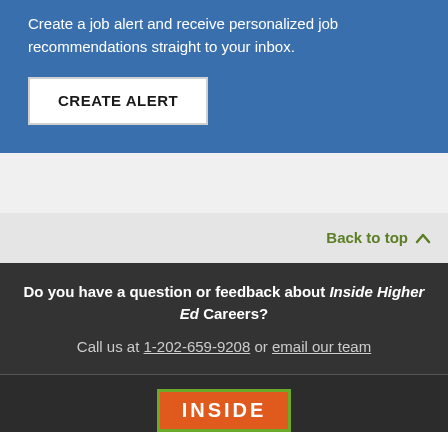Create a job alert and receive personalized job recommendations straight to your inbox.
CREATE ALERT
Back to top
Do you have a question or feedback about Inside Higher Ed Careers?
Call us at 1-202-659-9208 or email our team
[Figure (logo): Inside Higher Ed logo with green border and orange background]